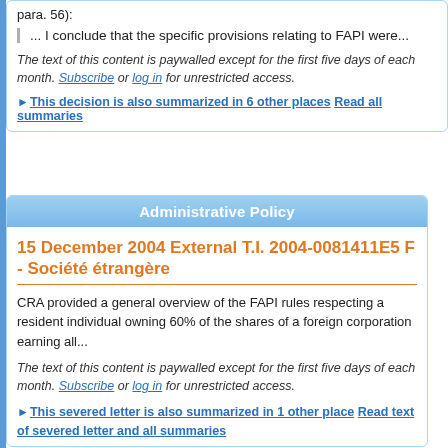para. 56):
... I conclude that the specific provisions relating to FAPI were...
The text of this content is paywalled except for the first five days of each month. Subscribe or log in for unrestricted access.
▶ This decision is also summarized in 6 other places Read all summaries
Administrative Policy
15 December 2004 External T.I. 2004-0081411E5 F - Société étrangère
CRA provided a general overview of the FAPI rules respecting a resident individual owning 60% of the shares of a foreign corporation earning all...
The text of this content is paywalled except for the first five days of each month. Subscribe or log in for unrestricted access.
▶ This severed letter is also summarized in 1 other place Read text of severed letter and all summaries